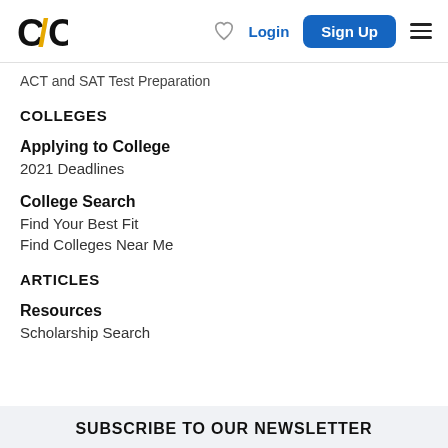C/C logo, heart icon, Login, Sign Up, menu
ACT and SAT Test Preparation
COLLEGES
Applying to College
2021 Deadlines
College Search
Find Your Best Fit
Find Colleges Near Me
ARTICLES
Resources
Scholarship Search
SUBSCRIBE TO OUR NEWSLETTER